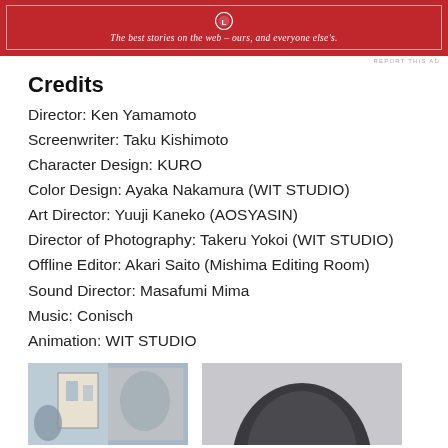[Figure (other): Red banner advertisement with Longreads logo and tagline: The best stories on the web – ours, and everyone else's.]
REPORT THIS AD
Credits
Director: Ken Yamamoto
Screenwriter: Taku Kishimoto
Character Design: KURO
Color Design: Ayaka Nakamura (WIT STUDIO)
Art Director: Yuuji Kaneko (AOSYASIN)
Director of Photography: Takeru Yokoi (WIT STUDIO)
Offline Editor: Akari Saito (Mishima Editing Room)
Sound Director: Masafumi Mima
Music: Conisch
Animation: WIT STUDIO
[Figure (illustration): Anime scene thumbnail showing characters in a snowy or wintry setting with Japanese art style elements]
[Figure (illustration): Dark silhouette image, appears to be a helmet or rounded dark figure]